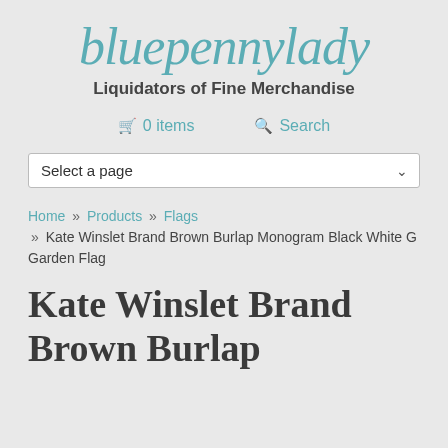bluepennylady
Liquidators of Fine Merchandise
0 items   Search
Select a page
Home » Products » Flags » Kate Winslet Brand Brown Burlap Monogram Black White G Garden Flag
Kate Winslet Brand Brown Burlap